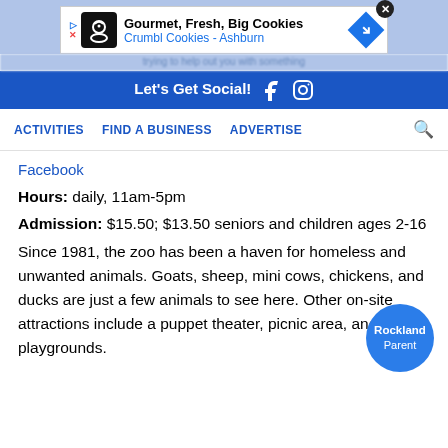[Figure (screenshot): Advertisement banner for Crumbl Cookies - Ashburn with cookie icon, text 'Gourmet, Fresh, Big Cookies' and 'Crumbl Cookies - Ashburn', close button and arrow icon]
Let's Get Social! [Facebook icon] [Instagram icon]
ACTIVITIES   FIND A BUSINESS   ADVERTISE   [search icon]
Facebook
Hours: daily, 11am-5pm
Admission: $15.50; $13.50 seniors and children ages 2-16
Since 1981, the zoo has been a haven for homeless and unwanted animals. Goats, sheep, mini cows, chickens, and ducks are just a few animals to see here. Other on-site attractions include a puppet theater, picnic area, and playgrounds.
[Figure (logo): Rockland Parent circular blue badge logo]